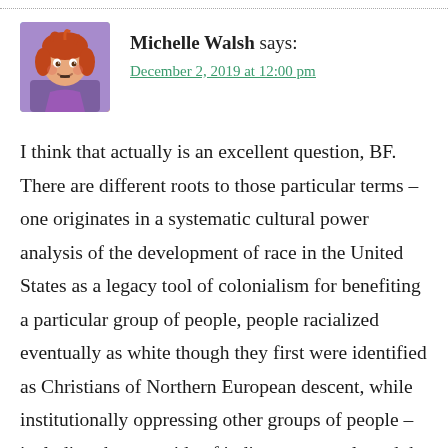Michelle Walsh says:
December 2, 2019 at 12:00 pm
I think that actually is an excellent question, BF. There are different roots to those particular terms – one originates in a systematic cultural power analysis of the development of race in the United States as a legacy tool of colonialism for benefiting a particular group of people, people racialized eventually as white though they first were identified as Christians of Northern European descent, while institutionally oppressing other groups of people – including the genocide of indigenous people and the enslavement of Africans. It is not a language intended to be individualized or personalized but reflects a system...